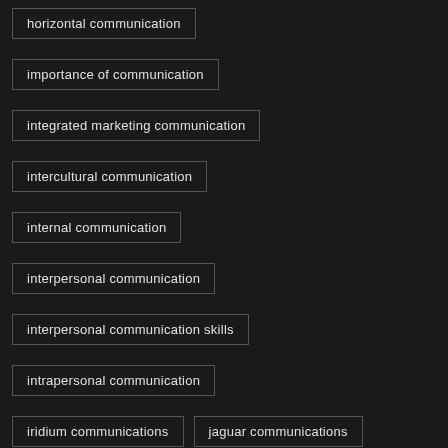horizontal communication
importance of communication
integrated marketing communication
intercultural communication
internal communication
interpersonal communication
interpersonal communication skills
intrapersonal communication
iridium communications
jaguar communications
jive communications
journal of communication
lack of communication